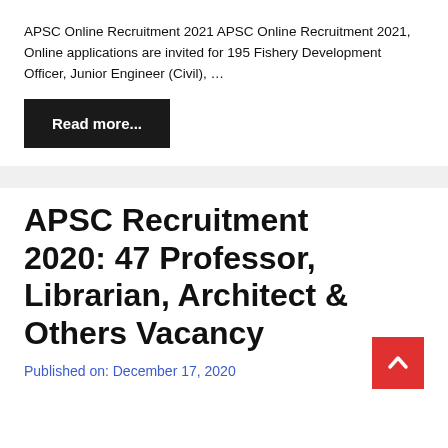APSC Online Recruitment 2021 APSC Online Recruitment 2021, Online applications are invited for 195 Fishery Development Officer, Junior Engineer (Civil), …
Read more...
APSC Recruitment 2020: 47 Professor, Librarian, Architect & Others Vacancy
Published on: December 17, 2020